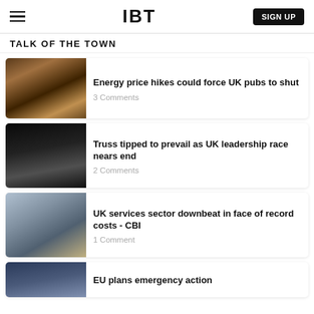IBT
TALK OF THE TOWN
Energy price hikes could force UK pubs to shut
3 Comments
Truss tipped to prevail as UK leadership race nears end
2 Comments
UK services sector downbeat in face of record costs - CBI
1 Comment
EU plans emergency action